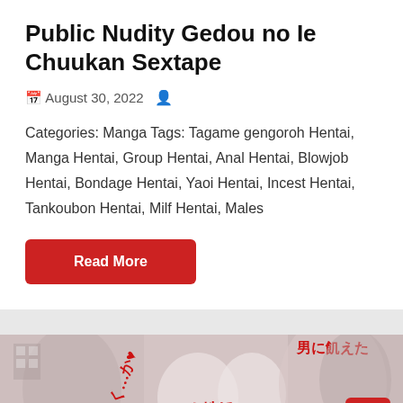Public Nudity Gedou no Ie Chuukan Sextape
August 30, 2022
Categories: Manga Tags: Tagame gengoroh Hentai, Manga Hentai, Group Hentai, Anal Hentai, Blowjob Hentai, Bondage Hentai, Yaoi Hentai, Incest Hentai, Tankoubon Hentai, Milf Hentai, Males
Read More
[Figure (illustration): Manga cover illustration showing anime characters with Japanese text overlaid in red]